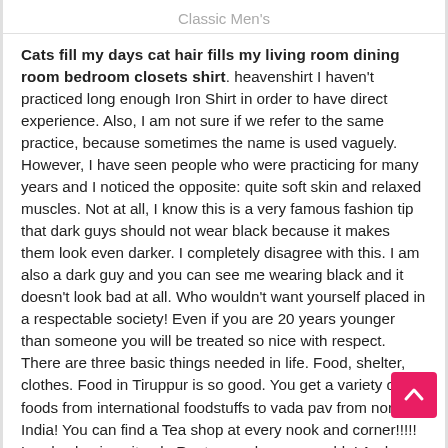Classic Men's
Cats fill my days cat hair fills my living room dining room bedroom closets shirt. heavenshirt I haven't practiced long enough Iron Shirt in order to have direct experience. Also, I am not sure if we refer to the same practice, because sometimes the name is used vaguely. However, I have seen people who were practicing for many years and I noticed the opposite: quite soft skin and relaxed muscles. Not at all, I know this is a very famous fashion tip that dark guys should not wear black because it makes them look even darker. I completely disagree with this. I am also a dark guy and you can see me wearing black and it doesn't look bad at all. Who wouldn't want yourself placed in a respectable society! Even if you are 20 years younger than someone you will be treated so nice with respect. There are three basic things needed in life. Food, shelter, clothes. Food in Tiruppur is so good. You get a variety of foods from international foodstuffs to vada pav from north India! You can find a Tea shop at every nook and corner!!!!! Land value is quite ok. Rents are also reasonable! And now